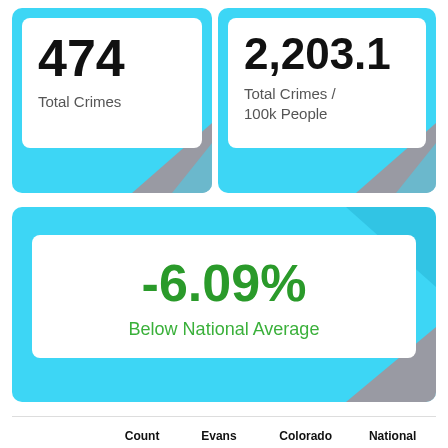[Figure (infographic): Stat card showing 474 Total Crimes on cyan background]
[Figure (infographic): Stat card showing 2,203.1 Total Crimes / 100k People on cyan background]
[Figure (infographic): Large card showing -6.09% Below National Average on cyan background]
| Statistic | Count
Raw | Evans
/ 100k
People | Colorado
/ 100k
People | National
/ 100k
People |
| --- | --- | --- | --- | --- |